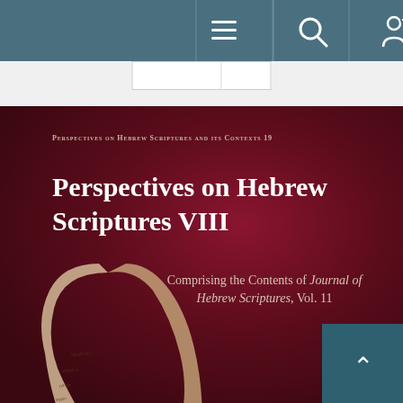[Figure (screenshot): Website navigation bar with hamburger menu, search, person with plus, shopping cart, and ellipsis icons on teal background]
[Figure (photo): Book cover for 'Perspectives on Hebrew Scriptures VIII' — dark red/maroon background with a decorative Hebrew manuscript scroll image. Series label reads 'Perspectives on Hebrew Scriptures and its Contexts 19'. Subtitle reads 'Comprising the Contents of Journal of Hebrew Scriptures, Vol. 11'.]